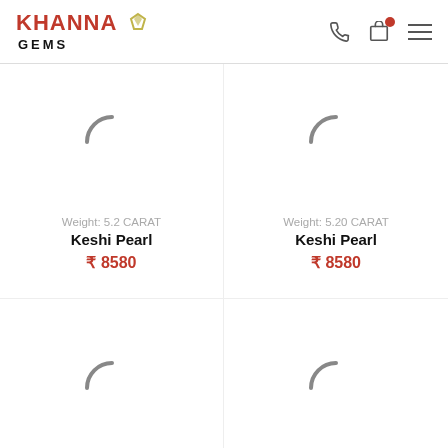Khanna Gems
Weight: 5.2 CARAT
Keshi Pearl
₹ 8580
Weight: 5.20 CARAT
Keshi Pearl
₹ 8580
[Figure (other): Loading spinner arc (product image loading) bottom-left]
[Figure (other): Loading spinner arc (product image loading) bottom-right]